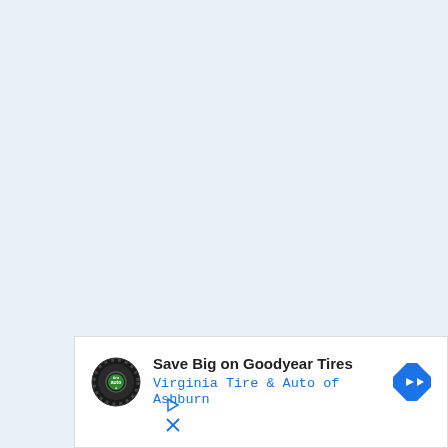[Figure (screenshot): Advertisement banner for Virginia Tire & Auto of Ashburn featuring Goodyear Tires promotion. Contains circular logo with tire imagery, ad title text, blue subtitle text, and a blue diamond navigation arrow icon. Ad controls (play and close icons) visible at bottom left.]